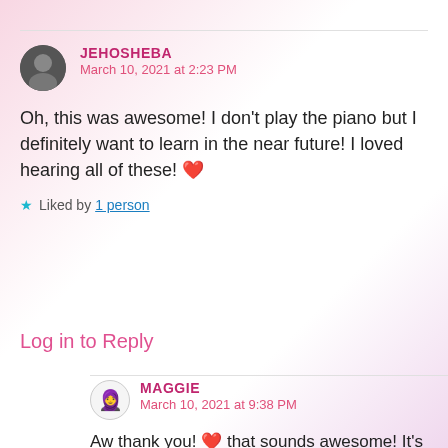JEHOSHEBA
March 10, 2021 at 2:23 PM
Oh, this was awesome! I don't play the piano but I definitely want to learn in the near future! I loved hearing all of these! ❤
★ Liked by 1 person
Log in to Reply
MAGGIE
March 10, 2021 at 9:38 PM
Aw thank you! ❤️ that sounds awesome! It's an epic instrument to play 😍💜